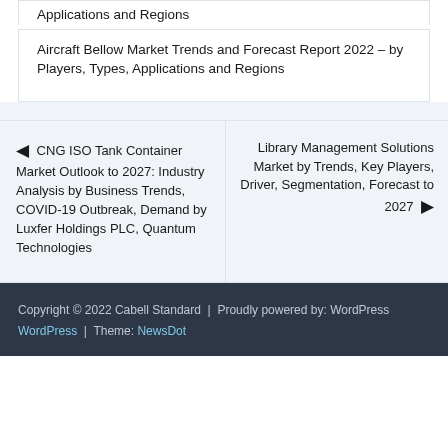Applications and Regions
Aircraft Bellow Market Trends and Forecast Report 2022 – by Players, Types, Applications and Regions
← CNG ISO Tank Container Market Outlook to 2027: Industry Analysis by Business Trends, COVID-19 Outbreak, Demand by Luxfer Holdings PLC, Quantum Technologies
Library Management Solutions Market by Trends, Key Players, Driver, Segmentation, Forecast to 2027 →
Copyright © 2022 Cabell Standard  |  Proudly powered by: WordPress  |  Theme: NewsDot